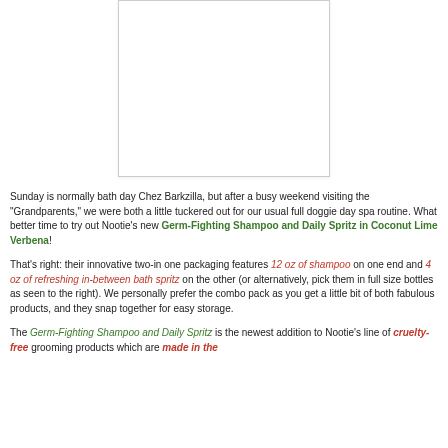[Figure (photo): Product photo placeholder (white rectangle with border)]
Sunday is normally bath day Chez Barkzilla, but after a busy weekend visiting the "Grandparents," we were both a little tuckered out for our usual full doggie day spa routine. What better time to try out Nootie’s new Germ-Fighting Shampoo and Daily Spritz in Coconut Lime Verbena!
That’s right: their innovative two-in one packaging features 12 oz of shampoo on one end and 4 oz of refreshing in-between bath spritz on the other (or alternatively, pick them in full size bottles as seen to the right). We personally prefer the combo pack as you get a little bit of both fabulous products, and they snap together for easy storage.
The Germ-Fighting Shampoo and Daily Spritz is the newest addition to Nootie’s line of cruelty-free grooming products which are made in the